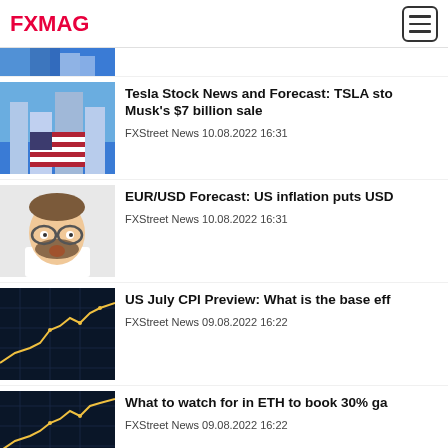FXMAG
[Figure (photo): Partial cropped blue image at top of feed]
Tesla Stock News and Forecast: TSLA stock gains despite Musk's $7 billion sale
FXStreet News 10.08.2022 16:31
[Figure (photo): Surprised man adjusting glasses]
EUR/USD Forecast: US inflation puts USD on back foot
FXStreet News 10.08.2022 16:31
[Figure (photo): Financial chart with yellow line trend on dark blue]
US July CPI Preview: What is the base effect?
FXStreet News 09.08.2022 16:22
[Figure (photo): Financial chart with yellow line trend on dark blue]
What to watch for in ETH to book 30% gains
FXStreet News 09.08.2022 16:22